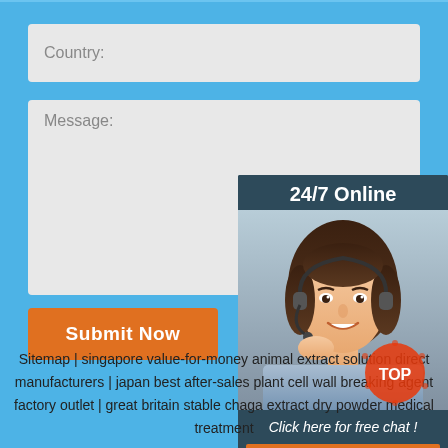Country:
Message:
Submit Now
[Figure (screenshot): 24/7 Online chat widget with a photo of a smiling woman wearing a headset, 'Click here for free chat!' text, and a QUOTATION button]
Sitemap | singapore value-for-money animal extract solution direct manufacturers | japan best after-sales plant cell wall breaking agent factory outlet | great britain stable chaga extract dry powder medical treatment